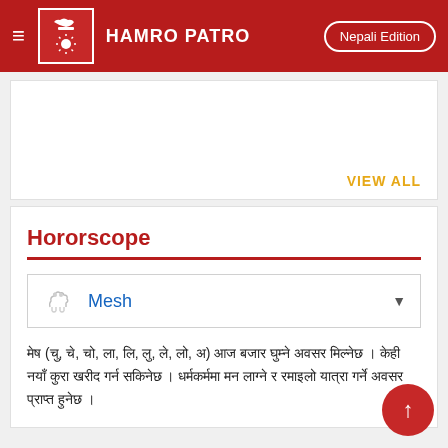HAMRO PATRO — Nepali Edition
[Figure (screenshot): Blank white card area with VIEW ALL link in orange at bottom right]
VIEW ALL
Hororscope
[Figure (infographic): Dropdown selector showing Aries (Mesh) sign icon with blue text 'Mesh' and dropdown arrow]
मेष (चु, चे, चो, ला, लि, लु, ले, लो, अ) आज बजार घुम्ने अवसर मिल्नेछ । केही नयाँ कुरा खरीद गर्न सकिनेछ । धर्मकर्ममा मन लाग्ने र रमाइलो यात्रा गर्ने अवसर प्राप्त हुनेछ ।